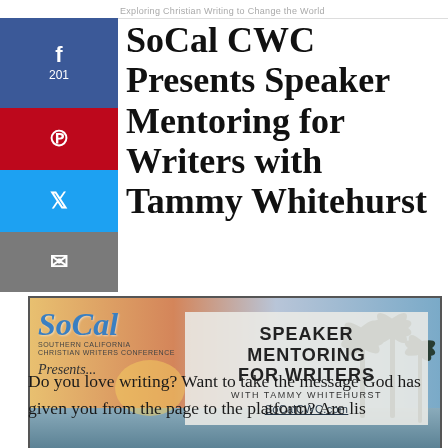Exploring Christian Writing to Change the World
SoCal CWC Presents Speaker Mentoring for Writers with Tammy Whitehurst
[Figure (illustration): Event banner for Speaker Mentoring for Writers with Tammy Whitehurst, featuring SoCal CWC logo, palm trees silhouette background with sunset sky, and white overlay box with event title text and SoCalCWC.com URL]
Do you love writing? Want to take the message God has given you from the page to the platform? Are lis...